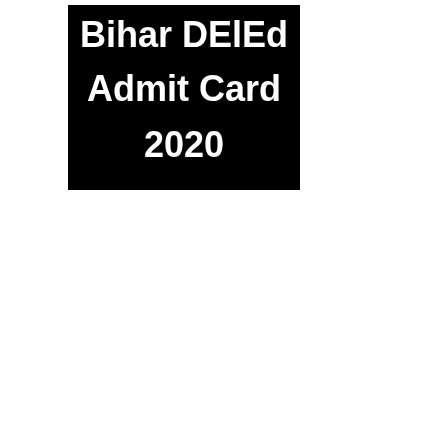[Figure (other): Black rectangular banner image with bold white text reading 'Bihar DElEd Admit Card 2020']